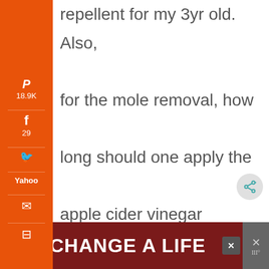repellent for my 3yr old. Also, for the mole removal, how long should one apply the apple cider vinegar compress before applying the CO? One more question...I am breastfeeding my 8wk old. Is it safe for me to take it internally while
[Figure (screenshot): Orange social media sidebar with Pinterest (18.9K), Facebook (29), Twitter, Yahoo, email, and print share buttons]
[Figure (screenshot): Advertisement banner at bottom: dark red background with black dog image and text 'CHANGE A LIFE' in white bold letters]
19.0K SHARES